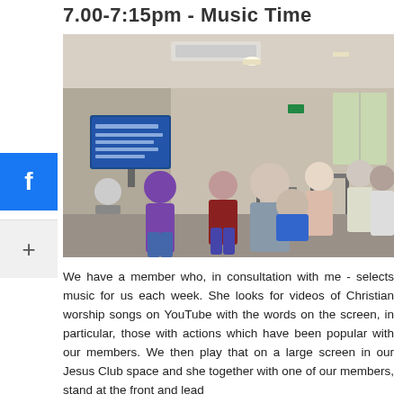7.00-7:15pm - Music Time
[Figure (photo): A group of people standing and participating in a worship/singing session in a meeting room. A presenter stands at the front near a TV screen displaying song lyrics. Multiple attendees are visible from the back, standing and some seated. Air conditioning unit visible on the wall.]
We have a member who, in consultation with me - selects music for us each week. She looks for videos of Christian worship songs on YouTube with the words on the screen, in particular, those with actions which have been popular with our members. We then play that on a large screen in our Jesus Club space and she together with one of our members, stand at the front and lead